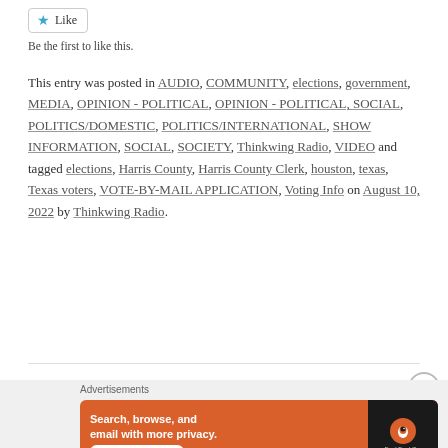[Figure (other): Like button with star icon]
Be the first to like this.
This entry was posted in AUDIO, COMMUNITY, elections, government, MEDIA, OPINION - POLITICAL, OPINION - POLITICAL, SOCIAL, POLITICS/DOMESTIC, POLITICS/INTERNATIONAL, SHOW INFORMATION, SOCIAL, SOCIETY, Thinkwing Radio, VIDEO and tagged elections, Harris County, Harris County Clerk, houston, texas, Texas voters, VOTE-BY-MAIL APPLICATION, Voting Info on August 10, 2022 by Thinkwing Radio.
[Figure (other): Advertisement banner for DuckDuckGo: Search, browse, and email with more privacy. All in One Free App]